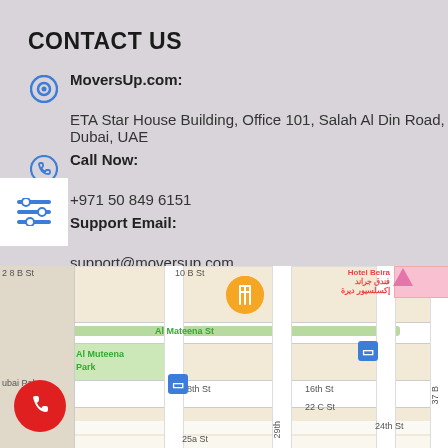CONTACT US
MoversUp.com: ETA Star House Building, Office 101, Salah Al Din Road, Dubai, UAE
Call Now: +971 50 849 6151
Support Email: support@moversup.com
Working Days: Monday to Sunday 9:00 AM - 5:00 PM
[Figure (map): Google Maps screenshot showing Al Muteena area, Dubai, UAE with street map, Al Mateena St, Al Muteena Park, and surrounding streets including 28 B St, 10 B St, 18th St, 16th St, 22 C St, 24th St, 29th and 37 B streets. Orange restaurant pin marker visible. Red call button overlay at bottom left.]